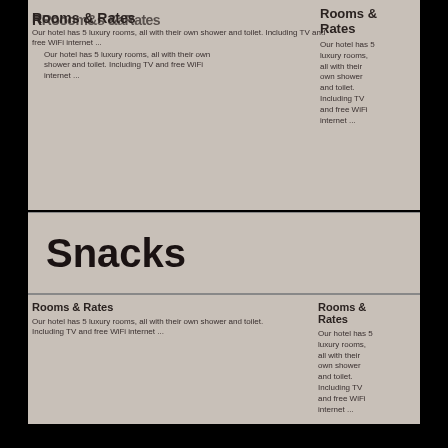Rooms & Rates
Our hotel has 5 luxury rooms, all with their own shower and toilet. Including TV and free WiFi internet ...
Rooms & Rates
Our hotel has 5 luxury rooms, all with their own shower and toilet. Including TV and free WiFi internet ...
Rooms & Rates
Our hotel has 5 luxury rooms, all with their own shower and toilet. Including TV and free WiFi internet ...
Snacks
Rooms & Rates
Rooms & Rates
Our hotel has 5 luxury rooms, all with their own shower and toilet. Including TV and free WiFi internet ...
Our hotel has 5 luxury rooms, all with their own shower and toilet. Including TV and free WiFi internet ...